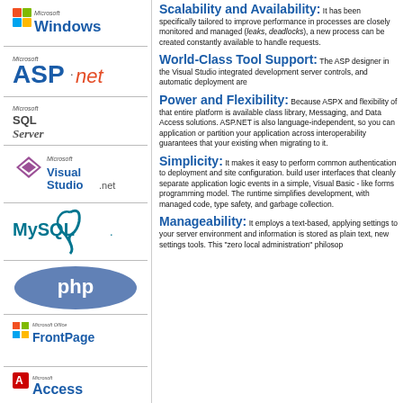[Figure (logo): Microsoft Windows logo]
[Figure (logo): Microsoft ASP.net logo]
[Figure (logo): Microsoft SQL Server logo]
[Figure (logo): Microsoft Visual Studio .net logo]
[Figure (logo): MySQL logo]
[Figure (logo): PHP logo]
[Figure (logo): Microsoft FrontPage logo]
[Figure (logo): Microsoft Access logo]
Scalability and Availability: It has been specifically tailored to improve performance in processes are closely monitored and managed (leaks, deadlocks), a new process can be created constantly available to handle requests.
World-Class Tool Support: The ASP designer in the Visual Studio integrated development server controls, and automatic deployment are
Power and Flexibility: Because ASPX and flexibility of that entire platform is available class library, Messaging, and Data Access solutions. ASP.NET is also language-independent, so you can application or partition your application across interoperability guarantees that your existing when migrating to it.
Simplicity: It makes it easy to perform common authentication to deployment and site configuration. It allows you to build user interfaces that cleanly separate application logic from presentation, and events in a simple, Visual Basic - like forms programming model. The runtime simplifies development, with managed code, type safety, and garbage collection.
Manageability: It employs a text-based, applying settings to your server environment and information is stored as plain text, new settings tools. This "zero local administration" philosop